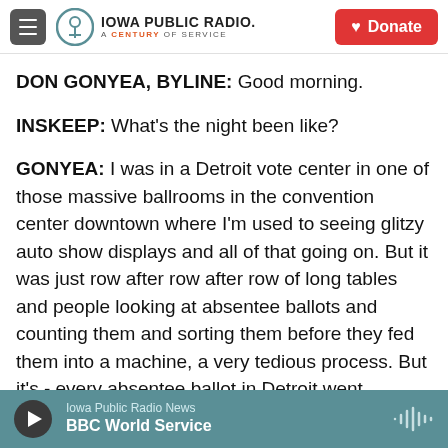Iowa Public Radio. A Century of Service | Donate
DON GONYEA, BYLINE: Good morning.
INSKEEP: What's the night been like?
GONYEA: I was in a Detroit vote center in one of those massive ballrooms in the convention center downtown where I'm used to seeing glitzy auto show displays and all of that going on. But it was just row after row after row of long tables and people looking at absentee ballots and counting them and sorting them before they fed them into a machine, a very tedious process. But it's - every absentee ballot in Detroit went through that room.
Iowa Public Radio News | BBC World Service